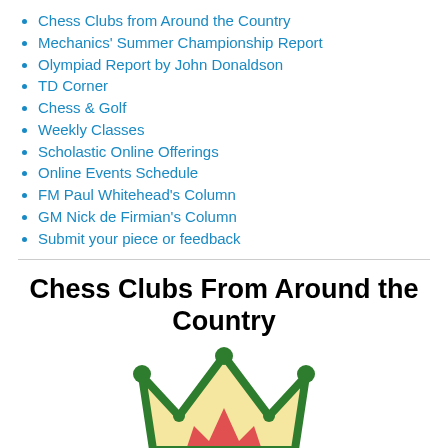Chess Clubs from Around the Country
Mechanics' Summer Championship Report
Olympiad Report by John Donaldson
TD Corner
Chess & Golf
Weekly Classes
Scholastic Online Offerings
Online Events Schedule
FM Paul Whitehead's Column
GM Nick de Firmian's Column
Submit your piece or feedback
Chess Clubs From Around the Country
[Figure (illustration): A colorful cartoon chess crown illustration — green crown outline with yellow/cream fill and a pink/red center design, partially visible at the bottom of the page.]